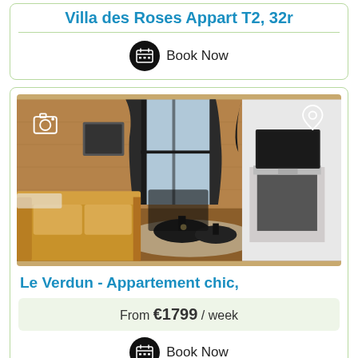Villa des Roses Appart T2, 32r
Book Now
[Figure (photo): Interior photo of Le Verdun apartment showing a living room with yellow sofa, small round coffee tables, fireplace with TV, wooden walls, and large window with curtains.]
Le Verdun - Appartement chic,
From €1799 / week
Book Now